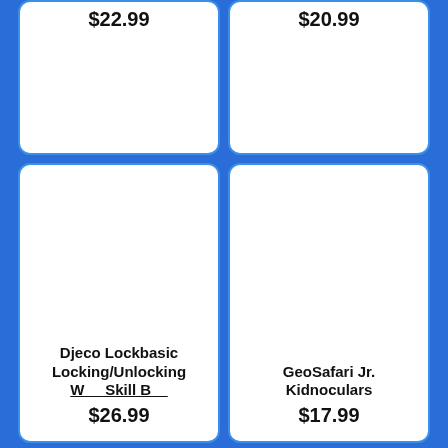$22.99
$20.99
Djeco Lockbasic Locking/Unlocking ... $26.99
GeoSafari Jr. Kidnoculars $17.99